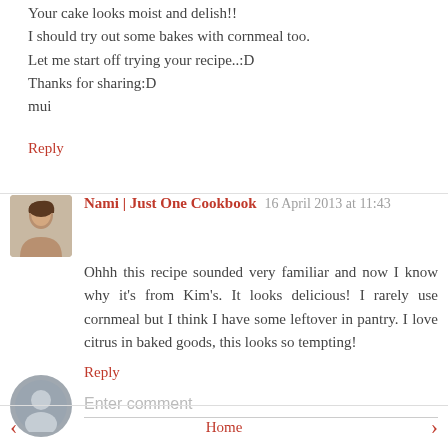Your cake looks moist and delish!!
I should try out some bakes with cornmeal too.
Let me start off trying your recipe..:D
Thanks for sharing:D
mui
Reply
Nami | Just One Cookbook  16 April 2013 at 11:43
Ohhh this recipe sounded very familiar and now I know why it's from Kim's. It looks delicious! I rarely use cornmeal but I think I have some leftover in pantry. I love citrus in baked goods, this looks so tempting!
Reply
Enter comment
‹  Home  ›